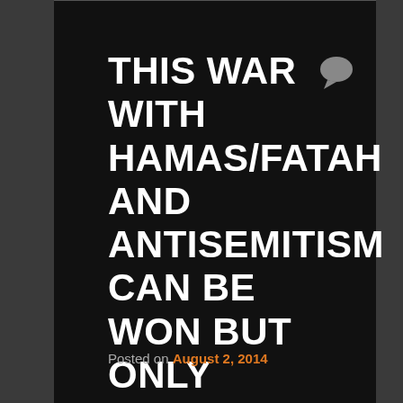THIS WAR WITH HAMAS/FATAH AND ANTISEMITISM CAN BE WON BUT ONLY UNDER SPECIAL LEADERS
Posted on August 2, 2014